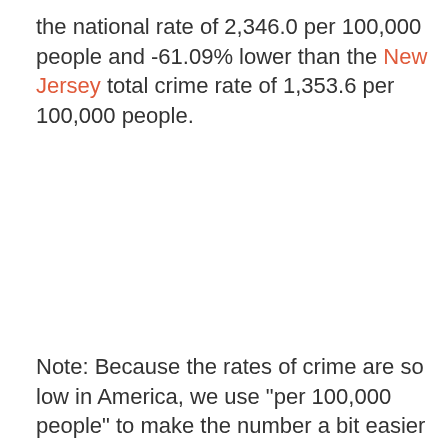the national rate of 2,346.0 per 100,000 people and -61.09% lower than the New Jersey total crime rate of 1,353.6 per 100,000 people.
Note: Because the rates of crime are so low in America, we use "per 100,000 people" to make the number a bit easier to compare across